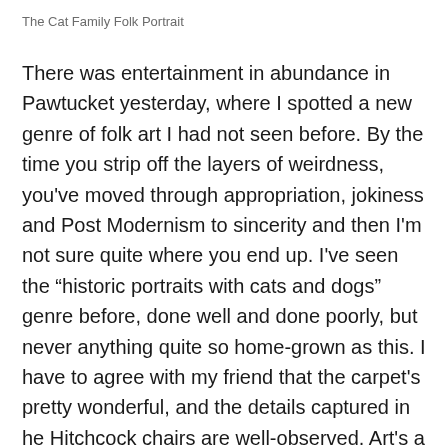The Cat Family Folk Portrait
There was entertainment in abundance in Pawtucket yesterday, where I spotted a new genre of folk art I had not seen before. By the time you strip off the layers of weirdness, you've moved through appropriation, jokiness and Post Modernism to sincerity and then I'm not sure quite where you end up. I've seen the “historic portraits with cats and dogs” genre before, done well and done poorly, but never anything quite so home-grown as this. I have to agree with my friend that the carpet's pretty wonderful, and the details captured in he Hitchcock chairs are well-observed. Art's a curious thing, and observation. It pleased me to find this, and I hope in some way it will please you to see it. We’re strange creatures; enjoy the ride.